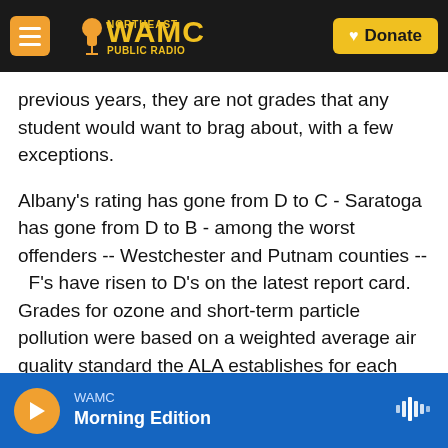[Figure (screenshot): WAMC Northeast Public Radio website header with orange menu button, WAMC logo in yellow/orange, and yellow Donate button on dark background]
previous years, they are not grades that any student would want to brag about, with a few exceptions.
Albany's rating has gone from D to C - Saratoga has gone from D to B - among the worst offenders -- Westchester and Putnam counties --  F's have risen to D's on the latest report card. Grades for ozone and short-term particle pollution were based on a weighted average air quality standard the ALA establishes for each county.
A county exceeding that average nine days or more received an F, seven days or more a D, three to six
[Figure (screenshot): WAMC audio player bar at bottom: orange play button, WAMC Morning Edition label, audio waveform icon, blue background]